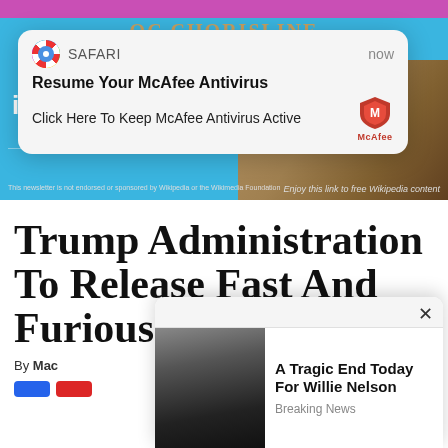[Figure (screenshot): Safari browser push notification popup saying 'Resume Your McAfee Antivirus - Click Here To Keep McAfee Antivirus Active' with McAfee shield logo and 'now' timestamp]
[Figure (screenshot): Background webpage showing partial text 'is located?' on a blue banner with photo, and disclaimer text at bottom]
Trump Administration To Release Fast And Furious Documents
By Mac
[Figure (screenshot): Popup overlay showing photo of Willie Nelson with headline 'A Tragic End Today For Willie Nelson' and subtext 'Breaking News']